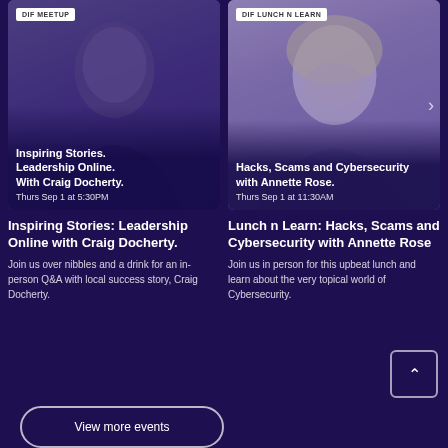[Figure (photo): DIF MEETUP card with dark purple photo of a man in a suit overlaid with event title and date]
[Figure (photo): DIF LUNCH N LEARN card with purple-tinted photo of a smiling blonde woman overlaid with event title and date]
Inspiring Stories: Leadership Online with Craig Docherty.
Join us over nibbles and a drink for an in-person Q&A with local success story, Craig Docherty.
Lunch n Learn: Hacks, Scams and Cybersecurity with Annette Rose
Join us in person for this upbeat lunch and learn about the very topical world of Cybersecurity.
View more events